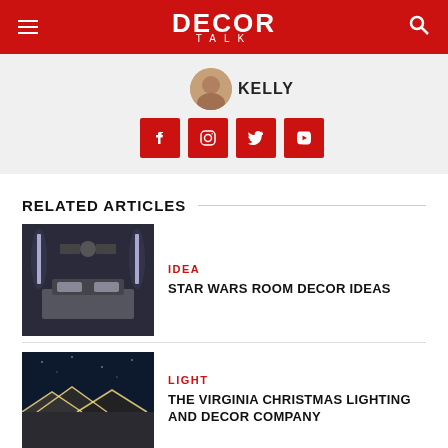DECOR TALK
[Figure (photo): Circular author avatar photo partially visible]
KELLY
[Figure (infographic): Social media icons: Facebook, Instagram, Twitter, YouTube — red square buttons with white icons]
RELATED ARTICLES
[Figure (photo): Star Wars themed bedroom with futuristic lighting and decor]
IDEA
STAR WARS ROOM DECOR IDEAS
[Figure (photo): House with Christmas lights on roof at night]
LIGHT
THE VIRGINIA CHRISTMAS LIGHTING AND DECOR COMPANY